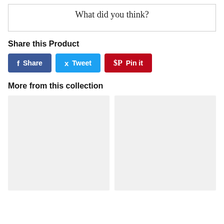What did you think?
Share this Product
[Figure (infographic): Social sharing buttons: Share (Facebook, blue), Tweet (Twitter, light blue), Pin it (Pinterest, red)]
More from this collection
[Figure (infographic): Two product placeholder image boxes side by side, light gray background]